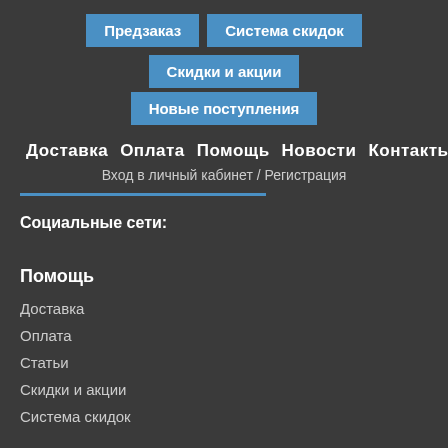Предзаказ
Система скидок
Скидки и акции
Новые поступления
Доставка  Оплата  Помощь  Новости  Контакты
Вход в личный кабинет / Регистрация
Социальные сети:
Помощь
Доставка
Оплата
Статьи
Скидки и акции
Система скидок
Служба поддержки: